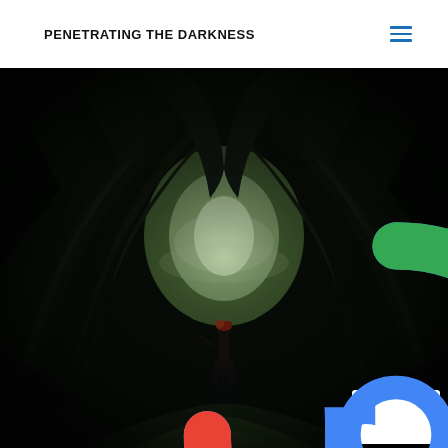PENETRATING THE DARKNESS
[Figure (photo): A dark atmospheric photograph showing a person with red hair standing in a natural tunnel formed by large ancient twisted trees, with green grass and misty light visible at the far end of the tunnel, creating a dramatic dark forest scene]